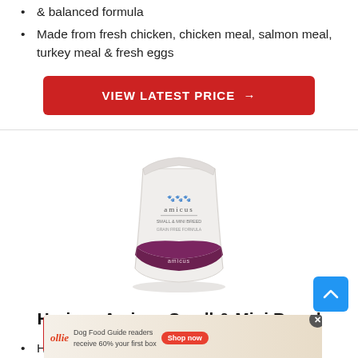& balanced formula
Made from fresh chicken, chicken meal, salmon meal, turkey meal & fresh eggs
[Figure (other): Red call-to-action button with white text reading VIEW LATEST PRICE →]
[Figure (photo): Horizon Amicus Small & Mini Breed dog food bag — white pouch with dark burgundy/maroon bottom panel and brand branding]
Horizon Amicus Small & Mini Breed
Help fight obesity in adult dogs
Balanced omega-3 and -6 fatty acids
Grain-free formula contains turkey, chicken, salmon & eggs
[Figure (other): Partially visible red VIEW LATEST PRICE button at the bottom of the page, overlaid by an Ollie dog food advertisement banner with close button]
[Figure (other): Blue scroll-to-top button in the bottom right corner with an upward chevron arrow]